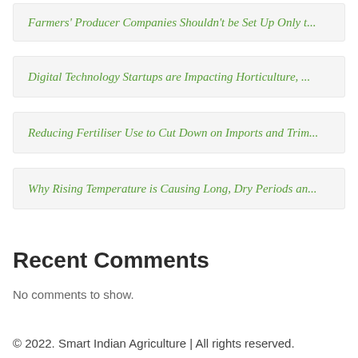Farmers' Producer Companies Shouldn't be Set Up Only t...
Digital Technology Startups are Impacting Horticulture, ...
Reducing Fertiliser Use to Cut Down on Imports and Trim...
Why Rising Temperature is Causing Long, Dry Periods an...
Recent Comments
No comments to show.
© 2022. Smart Indian Agriculture | All rights reserved.